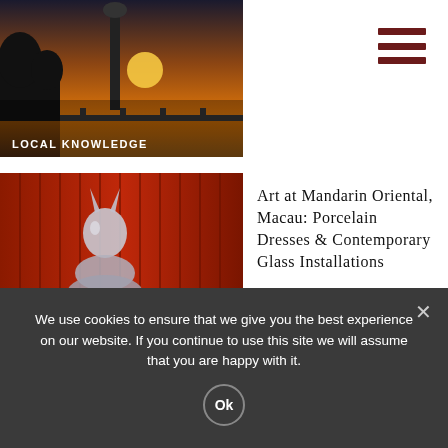[Figure (photo): Sunset photo with tower silhouette and bridge, labeled LOCAL KNOWLEDGE]
[Figure (photo): Art sculpture in red background labeled ARTS]
Art at Mandarin Oriental, Macau: Porcelain Dresses & Contemporary Glass Installations
[Figure (photo): Overhead photo of healthy food bowl on marble surface]
Best Places for a Healthy Meal in Macau
We use cookies to ensure that we give you the best experience on our website. If you continue to use this site we will assume that you are happy with it.